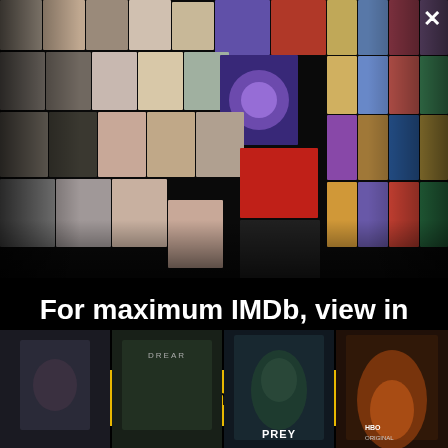[Figure (screenshot): IMDb app promotional overlay showing a mosaic of celebrity photos and movie posters in a perspective grid formation on a black background, with a close (X) button in the top right corner.]
For maximum IMDb, view in the app
Get the app
[Figure (screenshot): Bottom strip showing four movie poster thumbnails: a dark dramatic close-up portrait, a movie titled 'DREAR' (partial), 'PREY' with a green-faced character, and an HBO Original film featuring fire imagery.]